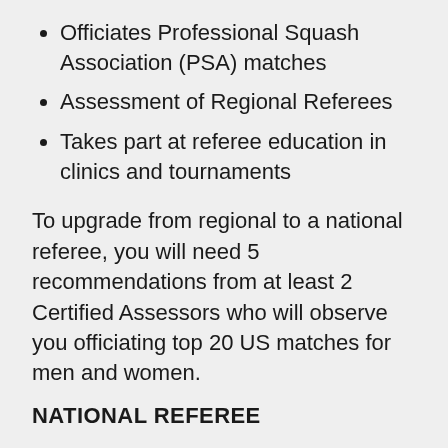Officiates Professional Squash Association (PSA) matches
Assessment of Regional Referees
Takes part at referee education in clinics and tournaments
To upgrade from regional to a national referee, you will need 5 recommendations from at least 2 Certified Assessors who will observe you officiating top 20 US matches for men and women.
NATIONAL REFEREE